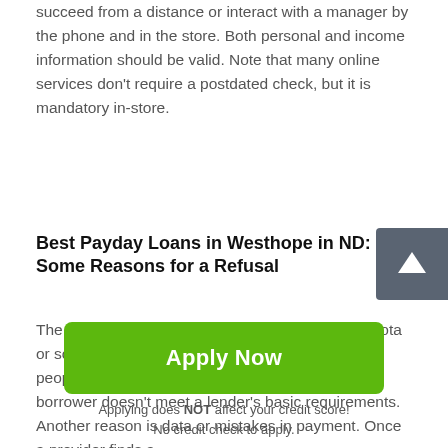succeed from a distance or interact with a manager by the phone and in the store. Both personal and income information should be valid. Note that many online services don't require a postdated check, but it is mandatory in-store.
Best Payday Loans in Westhope in ND: Some Reasons for a Refusal
The 24-hour payday loans Westhope in North Dakota or so-called cash advance are accessible for most people. Therefore, a refusal is possible when a borrower doesn't meet a lender's basic requirements. Another reason is data or mistakes in payment. Once a provider finds a
[Figure (other): Dark gray square scroll-to-top button with white upward arrow]
Apply Now
Applying does NOT affect your credit score!
No credit check to apply.